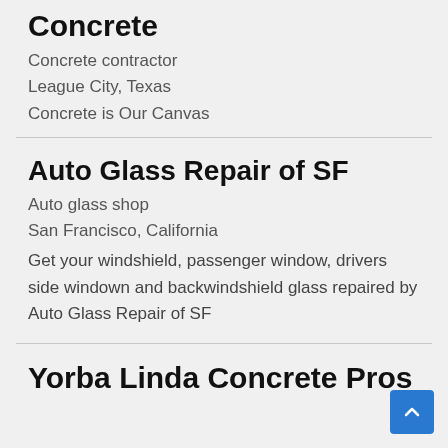Concrete
Concrete contractor
League City, Texas
Concrete is Our Canvas
Auto Glass Repair of SF
Auto glass shop
San Francisco, California
Get your windshield, passenger window, drivers side windown and backwindshield glass repaired by Auto Glass Repair of SF
Yorba Linda Concrete Pros